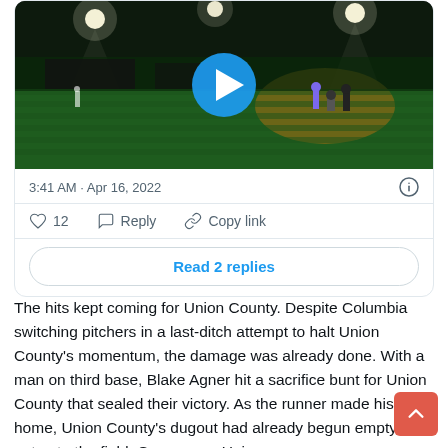[Figure (screenshot): Twitter/X embedded tweet card showing a night baseball game video thumbnail with a play button overlay. The field is lit with stadium lights, players visible at home plate.]
3:41 AM · Apr 16, 2022
12   Reply   Copy link
Read 2 replies
The hits kept coming for Union County. Despite Columbia switching pitchers in a last-ditch attempt to halt Union County's momentum, the damage was already done. With a man on third base, Blake Agner hit a sacrifice bunt for Union County that sealed their victory. As the runner made his way home, Union County's dugout had already begun emptying out onto the field. Game over. Union